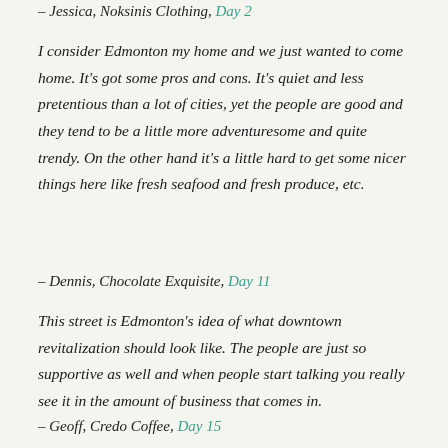– Jessica, Noksinis Clothing, Day 2
I consider Edmonton my home and we just wanted to come home. It's got some pros and cons. It's quiet and less pretentious than a lot of cities, yet the people are good and they tend to be a little more adventuresome and quite trendy. On the other hand it's a little hard to get some nicer things here like fresh seafood and fresh produce, etc.
– Dennis, Chocolate Exquisite, Day 11
This street is Edmonton's idea of what downtown revitalization should look like. The people are just so supportive as well and when people start talking you really see it in the amount of business that comes in.
– Geoff, Credo Coffee, Day 15